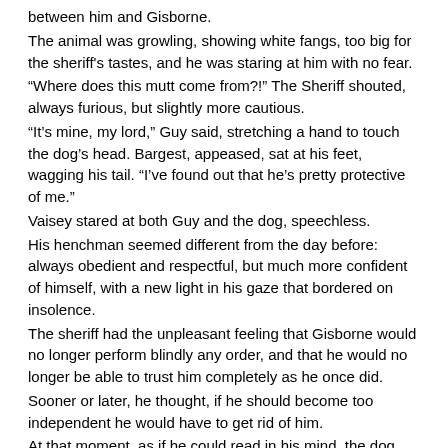between him and Gisborne.
The animal was growling, showing white fangs, too big for the sheriff's tastes, and he was staring at him with no fear.
“Where does this mutt come from?!” The Sheriff shouted, always furious, but slightly more cautious.
“It’s mine, my lord,” Guy said, stretching a hand to touch the dog’s head. Bargest, appeased, sat at his feet, wagging his tail. “I’ve found out that he’s pretty protective of me.”
Vaisey stared at both Guy and the dog, speechless.
His henchman seemed different from the day before: always obedient and respectful, but much more confident of himself, with a new light in his gaze that bordered on insolence.
The sheriff had the unpleasant feeling that Gisborne would no longer perform blindly any order, and that he would no longer be able to trust him completely as he once did.
Sooner or later, he thought, if he should become too independent he would have to get rid of him.
At that moment, as if he could read in his mind, the dog looked up to meet the Sheriff’s gaze, and Vaisey had the impression to see a ghostly light in his eyes, the quick glow of a hellish fire, fixed on him.
A warning.
“Gisborne!”